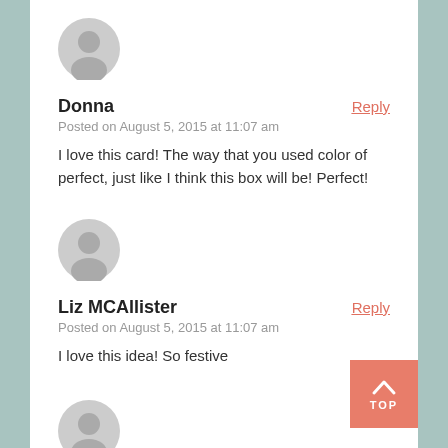[Figure (illustration): Grey default user avatar circle icon for commenter Donna]
Donna
Reply
Posted on August 5, 2015 at 11:07 am
I love this card! The way that you used color of perfect, just like I think this box will be! Perfect!
[Figure (illustration): Grey default user avatar circle icon for commenter Liz MCAllister]
Liz MCAllister
Reply
Posted on August 5, 2015 at 11:07 am
I love this idea! So festive
[Figure (illustration): Grey default user avatar circle icon for third commenter (partial)]
[Figure (illustration): Salmon/coral colored back-to-top button with upward chevron arrow and text TOP]